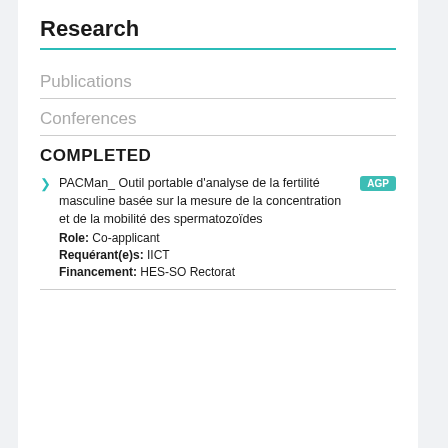Research
Publications
Conferences
COMPLETED
PACMan_ Outil portable d'analyse de la fertilité masculine basée sur la mesure de la concentration et de la mobilité des spermatozoïdes [AGP] Role: Co-applicant Requérant(e)s: IICT Financement: HES-SO Rectorat